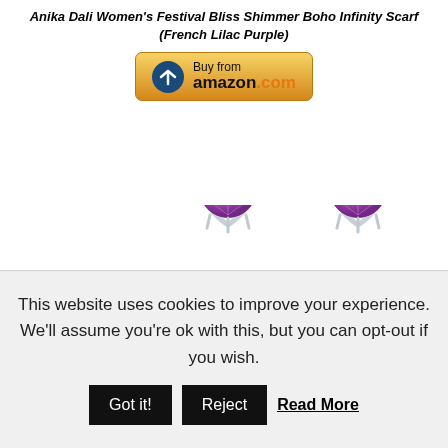Anika Dali Women's Festival Bliss Shimmer Boho Infinity Scarf (French Lilac Purple)
[Figure (other): Amazon buy button with gold gradient background, blue circle logo, and amazon.com wordmark]
[Figure (photo): Two silver drop earrings with teardrop-shaped frames containing purple/amethyst round gemstones, on white background]
This website uses cookies to improve your experience. We'll assume you're ok with this, but you can opt-out if you wish.
Got it!   Reject   Read More